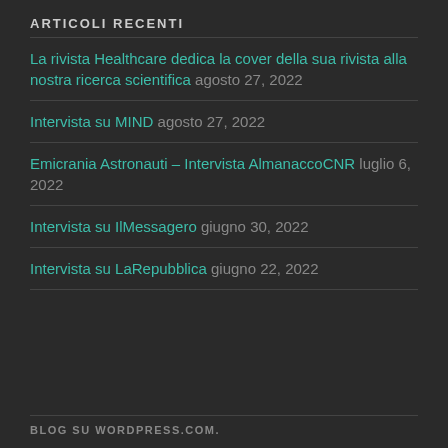ARTICOLI RECENTI
La rivista Healthcare dedica la cover della sua rivista alla nostra ricerca scientifica agosto 27, 2022
Intervista su MIND agosto 27, 2022
Emicrania Astronauti – Intervista AlmanaccoCNR luglio 6, 2022
Intervista su IlMessagero giugno 30, 2022
Intervista su LaRepubblica giugno 22, 2022
BLOG SU WORDPRESS.COM.